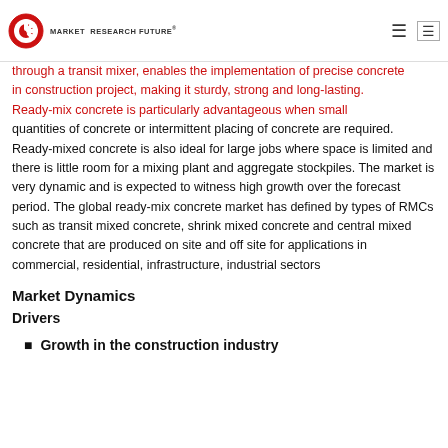MARKET RESEARCH FUTURE
through a transit mixer, enables the implementation of precise concrete in construction project, making it sturdy, strong and long-lasting. Ready-mix concrete is particularly advantageous when small quantities of concrete or intermittent placing of concrete are required. Ready-mixed concrete is also ideal for large jobs where space is limited and there is little room for a mixing plant and aggregate stockpiles. The market is very dynamic and is expected to witness high growth over the forecast period. The global ready-mix concrete market has defined by types of RMCs such as transit mixed concrete, shrink mixed concrete and central mixed concrete that are produced on site and off site for applications in commercial, residential, infrastructure, industrial sectors
Market Dynamics
Drivers
Growth in the construction industry